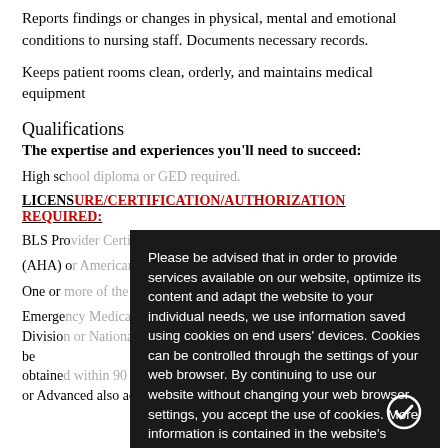Reports findings or changes in physical, mental and emotional conditions to nursing staff. Documents necessary records.
Keeps patient rooms clean, orderly, and maintains medical equipment
Qualifications
The expertise and experiences you'll need to succeed:
High school diploma or GED required.
LICENSURE/CERTIFICATION/AUTHORIZATION REQUIRED:
BLS Provider Certification issued through American Heart Association (AHA) or American Red Cross within 90 days of employment.
One or more of the following:
Emergency Medical Technician (EMT) registered by State Board Of Emergency Medical Services Division or National Registry of Emergency Medical Technicians. Must be obtained within 90 days after hire date. Intermediate or Advanced also acceptable.
Please be advised that in order to provide services available on our website, optimize its content and adapt the website to your individual needs, we use information saved using cookies on end users' devices. Cookies can be controlled through the settings of your web browser. By continuing to use our website without changing your web browser settings, you accept the use of cookies. More information is contained in the website's privacy policy.